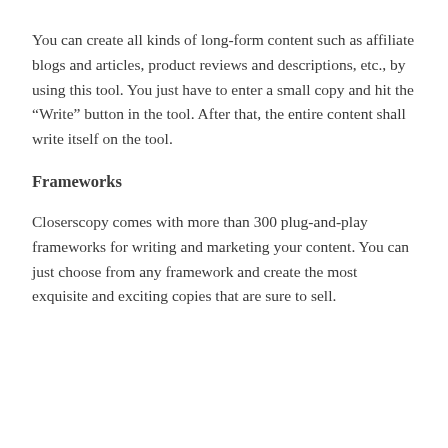You can create all kinds of long-form content such as affiliate blogs and articles, product reviews and descriptions, etc., by using this tool. You just have to enter a small copy and hit the “Write” button in the tool. After that, the entire content shall write itself on the tool.
Frameworks
Closerscopy comes with more than 300 plug-and-play frameworks for writing and marketing your content. You can just choose from any framework and create the most exquisite and exciting copies that are sure to sell.